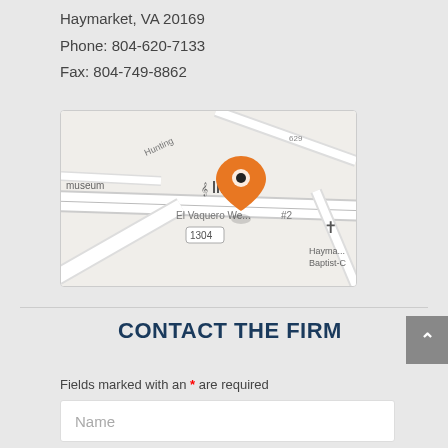Haymarket, VA 20169
Phone: 804-620-7133
Fax: 804-749-8862
[Figure (map): A street map showing the location of a business in Haymarket, VA near El Vaquero Way and 1304, with an orange map pin marker. Nearby labels include 'museum', 'Hunting', '629', 'El Vaquero We...#2', '1304', 'Hayma...', 'Baptist-C', and a church cross symbol.]
CONTACT THE FIRM
Fields marked with an * are required
Name